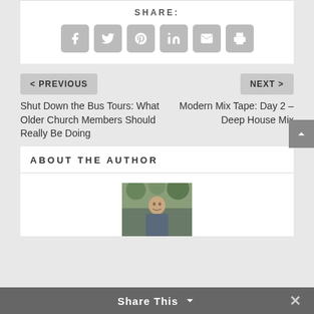SHARE:
[Figure (infographic): Row of 6 social share icon buttons: Facebook, Twitter, Pinterest, LinkedIn, Email, Print — all grey rounded squares with white icons]
< PREVIOUS
Shut Down the Bus Tours: What Older Church Members Should Really Be Doing
NEXT >
Modern Mix Tape: Day 2 – Deep House Mix
ABOUT THE AUTHOR
[Figure (photo): Partial photo of a man standing outdoors, cropped at bottom of page]
Share This